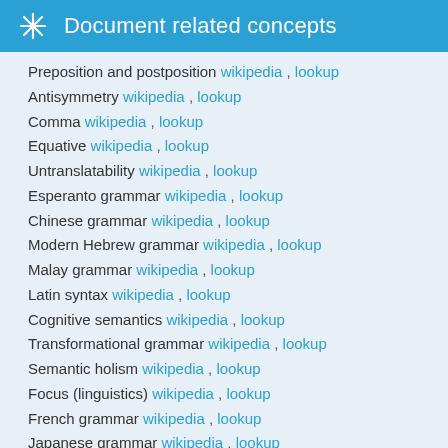Document related concepts
Preposition and postposition wikipedia , lookup
Antisymmetry wikipedia , lookup
Comma wikipedia , lookup
Equative wikipedia , lookup
Untranslatability wikipedia , lookup
Esperanto grammar wikipedia , lookup
Chinese grammar wikipedia , lookup
Modern Hebrew grammar wikipedia , lookup
Malay grammar wikipedia , lookup
Latin syntax wikipedia , lookup
Cognitive semantics wikipedia , lookup
Transformational grammar wikipedia , lookup
Semantic holism wikipedia , lookup
Focus (linguistics) wikipedia , lookup
French grammar wikipedia , lookup
Japanese grammar wikipedia , lookup
Turkish grammar wikipedia , lookup